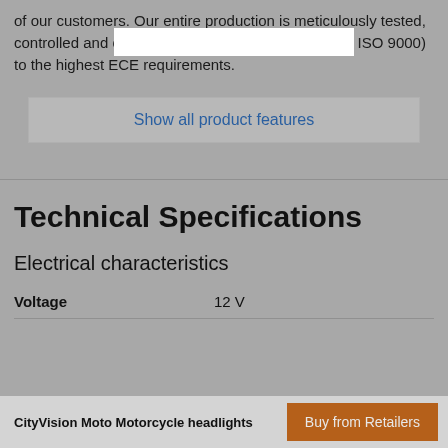of our customers. Our entire production is meticulously tested, controlled and certified (TÜV 9000, ISO 16000 and ISO 9000) to the highest ECE requirements.
Show all product features
Technical Specifications
Electrical characteristics
|  |  |
| --- | --- |
| Voltage | 12  V |
CityVision Moto Motorcycle headlights